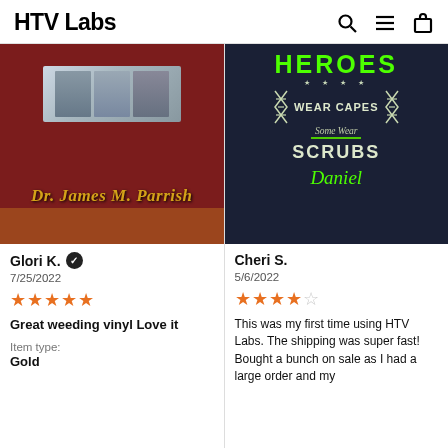HTV Labs
[Figure (photo): Dark red/maroon shirt with memorial tribute text for Dr. James M. Parrish and a small photo card at the top]
[Figure (photo): Dark navy background with green and white text reading HEROES **** WEAR CAPES Some Wear SCRUBS with DNA helix graphics and the name Daniel in green cursive]
Glori K. ✓
7/25/2022
★★★★★
Great weeding vinyl Love it
Item type:
Gold
Cheri S.
5/6/2022
★★★★☆
This was my first time using HTV Labs. The shipping was super fast! Bought a bunch on sale as I had a large order and my